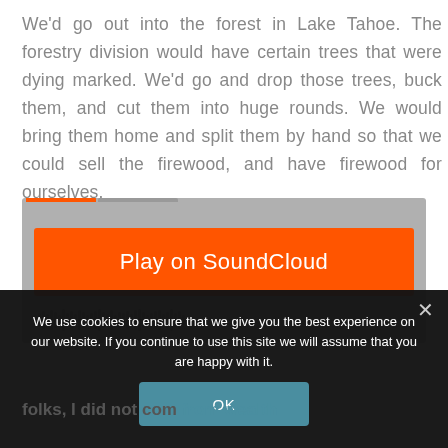We'd go out into the forest in Lake Tahoe. The forestry division would have certain trees that were dying marked. We'd go and drop those trees, buck them, and cut them into huge rounds. We would bring them home and split them by hand so that we could sell the firewood, and have firewood for ourselves.
[Figure (screenshot): SoundCloud embedded player widget with orange 'Play on SoundCloud' button on a gray background, with an orange tab and gray tab visible at the top.]
[Figure (screenshot): Cookie consent overlay on dark background with text 'We use cookies to ensure that we give you the best experience on our website. If you continue to use this site we will assume that you are happy with it.' and an OK button, plus a close (×) button.]
folks, I did not com from wealth